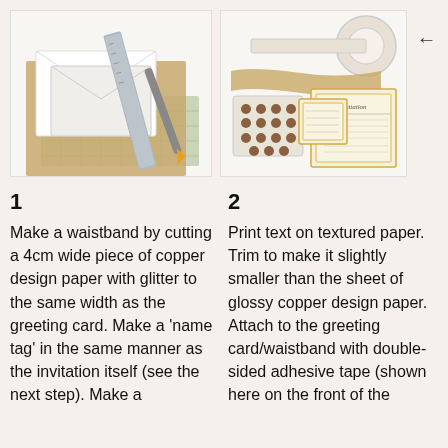[Figure (photo): Craft supplies for making a waistband: brown kraft paper, white envelopes, metal ruler, cutting mat, and box cutter/craft knife on white background.]
[Figure (photo): Craft supplies for invitation: decorative tape roll, brown paper strip, rhinestone stickers sheet, printed invitation card, and name tag card on white background.]
1
Make a waistband by cutting a 4cm wide piece of copper design paper with glitter to the same width as the greeting card. Make a 'name tag' in the same manner as the invitation itself (see the next step). Make a
2
Print text on textured paper. Trim to make it slightly smaller than the sheet of glossy copper design paper. Attach to the greeting card/waistband with double-sided adhesive tape (shown here on the front of the